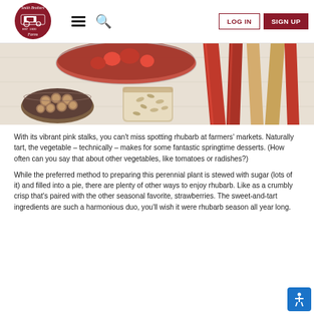Smith Brothers Farms — LOG IN | SIGN UP
[Figure (photo): Overhead shot of rhubarb stalks, a bowl of hazelnuts, a jar of oats, and a glass bowl of strawberries and rhubarb on a white wood surface]
With its vibrant pink stalks, you can't miss spotting rhubarb at farmers' markets. Naturally tart, the vegetable – technically – makes for some fantastic springtime desserts. (How often can you say that about other vegetables, like tomatoes or radishes?)
While the preferred method to preparing this perennial plant is stewed with sugar (lots of it) and filled into a pie, there are plenty of other ways to enjoy rhubarb. Like as a crumbly crisp that's paired with the other seasonal favorite, strawberries. The sweet-and-tart ingredients are such a harmonious duo, you'll wish it were rhubarb season all year long.